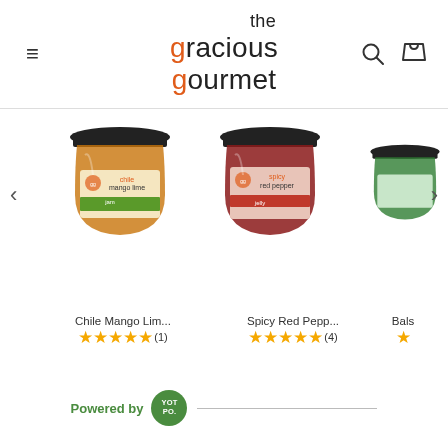[Figure (logo): The Gracious Gourmet logo with orange g letters]
[Figure (screenshot): Product carousel showing Chile Mango Lime jar, Spicy Red Pepper jar, and partial third jar with ratings]
Chile Mango Lim...  Spicy Red Pepp...  Bals
★★★★★ (1)  ★★★★★ (4)  ★
Powered by  YOT PO.